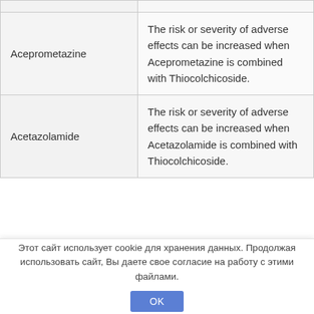| Drug | Interaction |
| --- | --- |
| Aceprometazine | The risk or severity of adverse effects can be increased when Aceprometazine is combined with Thiocolchicoside. |
| Acetazolamide | The risk or severity of adverse effects can be increased when Acetazolamide is combined with Thiocolchicoside. |
Этот сайт использует cookie для хранения данных. Продолжая использовать сайт, Вы даете свое согласие на работу с этими файлами. OK